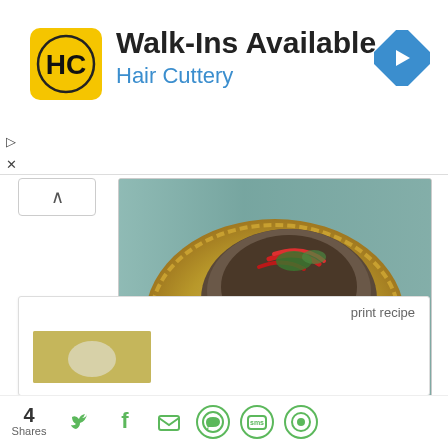[Figure (infographic): Hair Cuttery advertisement banner with yellow HC logo, text 'Walk-Ins Available' in bold and 'Hair Cuttery' in blue, and a blue navigation arrow icon on the right]
[Figure (photo): Top-down food photograph of an Indian dish in a metallic bowl on a decorative gold plate, with red chilies, green herbs, and an eggplant/brinjal, on a teal wooden surface. Watermark reads simplysouthindianfood.com]
print recipe
[Figure (photo): Small thumbnail image of a food dish]
4
Shares
[Figure (infographic): Social sharing icons row: Twitter (bird), Facebook (f), Email (envelope), WhatsApp, SMS, and a circular share button, all in green]